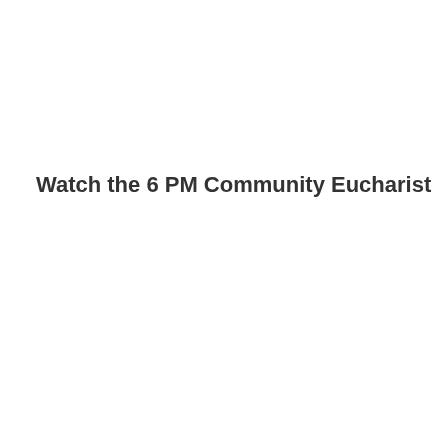Watch the 6 PM Community Eucharist